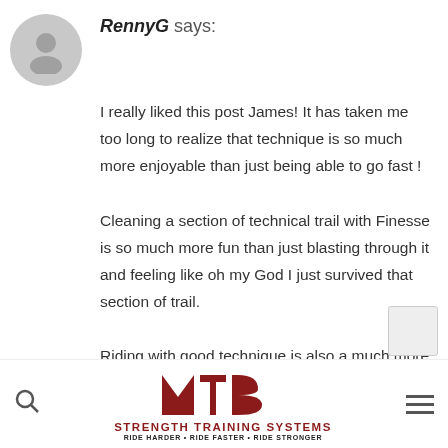[Figure (illustration): Gray circular avatar icon with a generic person silhouette]
RennyG says:
I really liked this post James! It has taken me too long to realize that technique is so much more enjoyable than just being able to go fast !

Cleaning a section of technical trail with Finesse is so much more fun than just blasting through it and feeling like oh my God I just survived that section of trail.

Riding with good technique is also a much more “in the moment experience”
than J
[Figure (logo): MTB Strength Training Systems logo with red MTB letters and tagline RIDE HARDER - RIDE FASTER - RIDE STRONGER]
JANUA
[Figure (other): reCAPTCHA badge in bottom right corner]